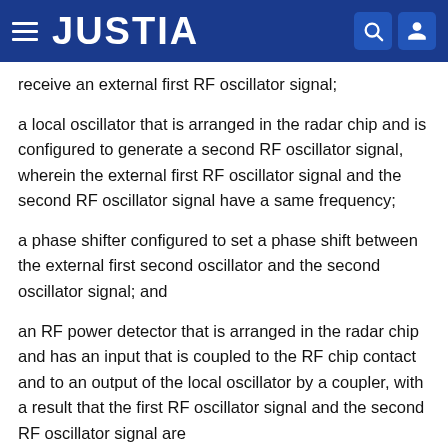JUSTIA
receive an external first RF oscillator signal;
a local oscillator that is arranged in the radar chip and is configured to generate a second RF oscillator signal, wherein the external first RF oscillator signal and the second RF oscillator signal have a same frequency;
a phase shifter configured to set a phase shift between the external first second oscillator and the second oscillator signal; and
an RF power detector that is arranged in the radar chip and has an input that is coupled to the RF chip contact and to an output of the local oscillator by a coupler, with a result that the first RF oscillator signal and the second RF oscillator signal are superimposed at the input of the RF power...